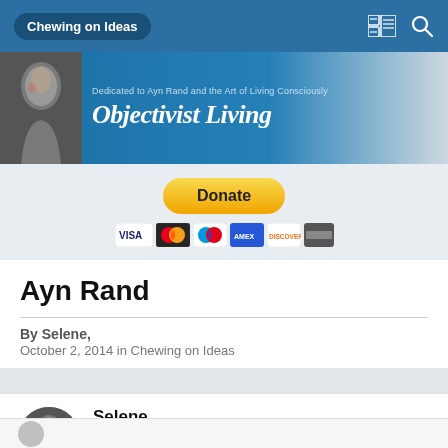Chewing on Ideas
[Figure (illustration): Objectivist Living banner with Ayn Rand photo and text 'Dedicated to Ayn Rand and the Art of Living Consciously' and 'Objectivist Living']
[Figure (other): PayPal Donate button with payment card icons (Visa, Mastercard, etc.)]
Ayn Rand
By Selene, October 2, 2014 in Chewing on Ideas
Selene
Posted October 2, 2014
Anyone familiar with this cartoonist?